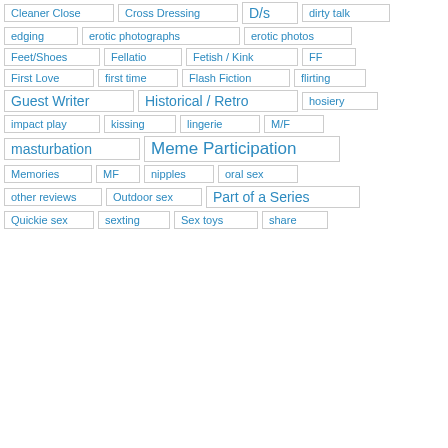Cleaner Close
Cross Dressing
D/s
dirty talk
edging
erotic photographs
erotic photos
Feet/Shoes
Fellatio
Fetish / Kink
FF
First Love
first time
Flash Fiction
flirting
Guest Writer
Historical / Retro
hosiery
impact play
kissing
lingerie
M/F
masturbation
Meme Participation
Memories
MF
nipples
oral sex
other reviews
Outdoor sex
Part of a Series
Quickie sex
sexting
Sex toys
share